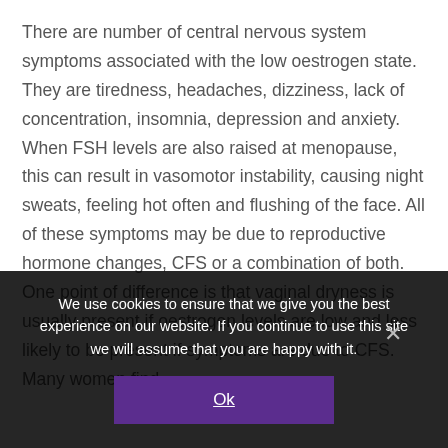There are number of central nervous system symptoms associated with the low oestrogen state. They are tiredness, headaches, dizziness, lack of concentration, insomnia, depression and anxiety. When FSH levels are also raised at menopause, this can result in vasomotor instability, causing night sweats, feeling hot often and flushing of the face. All of these symptoms may be due to reproductive hormone changes, CFS or a combination of both. One point of difference is that vaginal dryness is usually present if oestrogen levels are low and less likely to be present if symptoms are due to CFS. Many women find
We use cookies to ensure that we give you the best experience on our website. If you continue to use this site we will assume that you are happy with it.
Ok